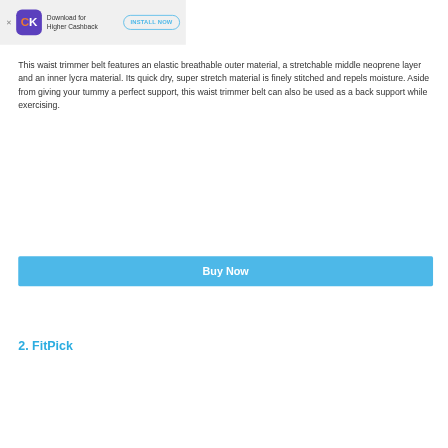Download for Higher Cashback | INSTALL NOW
This waist trimmer belt features an elastic breathable outer material, a stretchable middle neoprene layer and an inner lycra material. Its quick dry, super stretch material is finely stitched and repels moisture. Aside from giving your tummy a perfect support, this waist trimmer belt can also be used as a back support while exercising.
Buy Now
2. FitPick